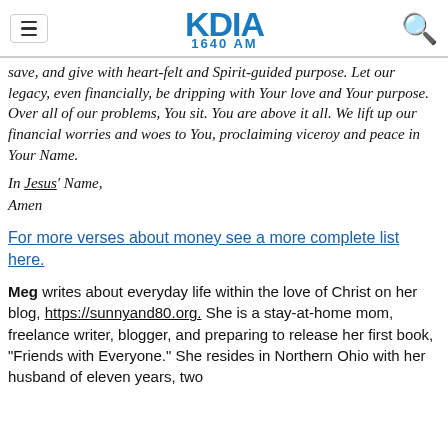KDIA 1640 AM
save, and give with heart-felt and Spirit-guided purpose. Let our legacy, even financially, be dripping with Your love and Your purpose. Over all of our problems, You sit. You are above it all. We lift up our financial worries and woes to You, proclaiming viceroy and peace in Your Name.
In Jesus' Name,
Amen
For more verses about money see a more complete list here.
Meg writes about everyday life within the love of Christ on her blog, https://sunnyand80.org. She is a stay-at-home mom, freelance writer, blogger, and preparing to release her first book, "Friends with Everyone." She resides in Northern Ohio with her husband of eleven years, two